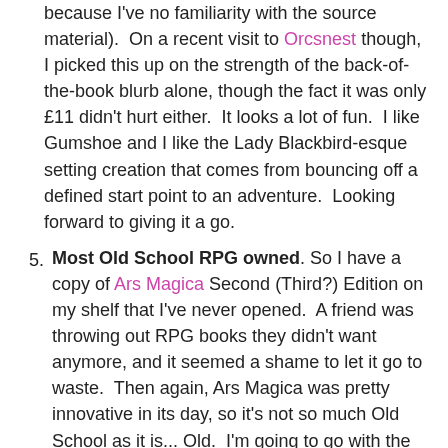because I've no familiarity with the source material).  On a recent visit to Orcsnest though, I picked this up on the strength of the back-of-the-book blurb alone, though the fact it was only £11 didn't hurt either.  It looks a lot of fun.  I like Gumshoe and I like the Lady Blackbird-esque setting creation that comes from bouncing off a defined start point to an adventure.  Looking forward to giving it a go.
5. Most Old School RPG owned. So I have a copy of Ars Magica Second (Third?) Edition on my shelf that I've never opened.  A friend was throwing out RPG books they didn't want anymore, and it seemed a shame to let it go to waste.  Then again, Ars Magica was pretty innovative in its day, so it's not so much Old School as it is... Old.  I'm going to go with the sourcebooks I have for Wizards of